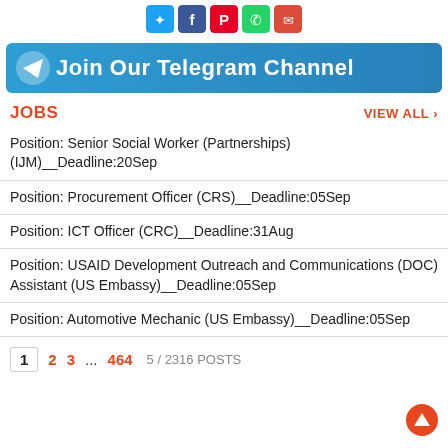[Figure (infographic): Social media share icons: Twitter/X (blue), Facebook (dark blue), Pinterest (red), WhatsApp (green), Email (red)]
[Figure (infographic): Join Our Telegram Channel banner with Telegram logo icon on blue gradient background]
JOBS
VIEW ALL >
Position: Senior Social Worker (Partnerships) (IJM)__Deadline:20Sep
Position: Procurement Officer (CRS)__Deadline:05Sep
Position: ICT Officer (CRC)__Deadline:31Aug
Position: USAID Development Outreach and Communications (DOC) Assistant (US Embassy)__Deadline:05Sep
Position: Automotive Mechanic (US Embassy)__Deadline:05Sep
1  2  3  ...  464  5 / 2316 POSTS